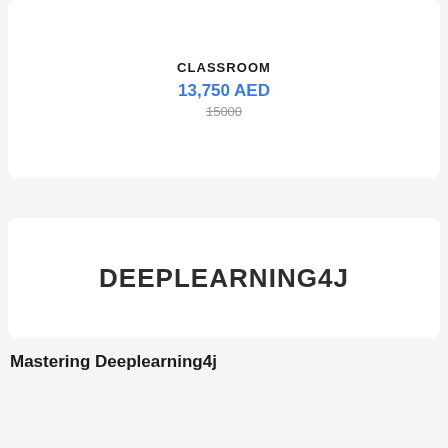CLASSROOM
13,750 AED
15000
[Figure (logo): DEEPLEARNING4J logo text in bold dark uppercase letters on white background]
Mastering Deeplearning4j